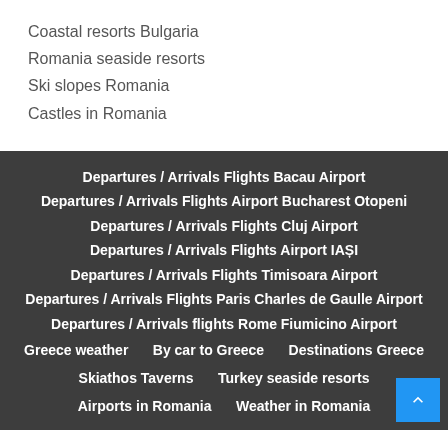Coastal resorts Bulgaria
Romania seaside resorts
Ski slopes Romania
Castles in Romania
Departures / Arrivals Flights Bacau Airport
Departures / Arrivals Flights Airport Bucharest Otopeni
Departures / Arrivals Flights Cluj Airport
Departures / Arrivals Flights Airport IAȘI
Departures / Arrivals Flights Timisoara Airport
Departures / Arrivals Flights Paris Charles de Gaulle Airport
Departures / Arrivals flights Rome Fiumicino Airport
Greece weather
By car to Greece
Destinations Greece
Skiathos Taverns
Turkey seaside resorts
Airports in Romania
Weather in Romania